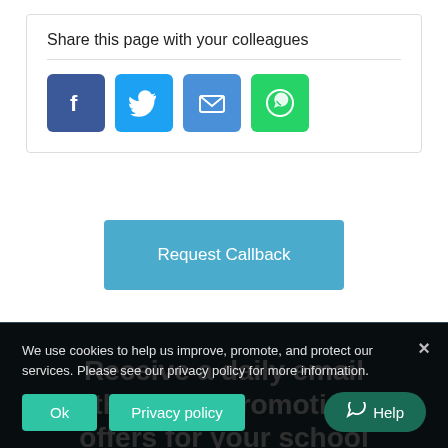Share this page with your colleagues
[Figure (infographic): Social sharing icons: Facebook (blue), Twitter (light blue), Email (blue), WhatsApp (green)]
Request Callback
Receive a daily email with free or promotional offers for your school
We use cookies to help us improve, promote, and protect our services. Please see our privacy policy for more information.
Ok
Privacy policy
Help